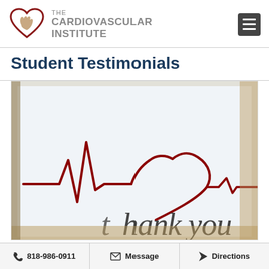THE CARDIOVASCULAR INSTITUTE
Student Testimonials
[Figure (photo): A decorative card showing an ECG/heartbeat line forming a heart shape with the text 'thank you' written below in a stylized font on a white background with wooden elements visible at the edges.]
818-986-0911 | Message | Directions